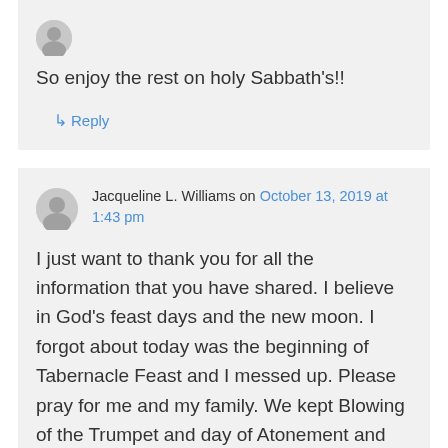So enjoy the rest on holy Sabbath's!!
↳ Reply
Jacqueline L. Williams on October 13, 2019 at 1:43 pm
I just want to thank you for all the information that you have shared. I believe in God's feast days and the new moon. I forgot about today was the beginning of Tabernacle Feast and I messed up. Please pray for me and my family. We kept Blowing of the Trumpet and day of Atonement and now Tabernacle. I got my